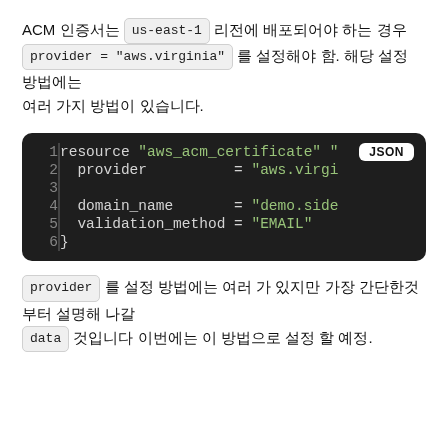ACM 인증서는 us-east-1 리전에 배포되어야 하는 경우 provider = "aws.virginia" 를 설정해야 함. 해당 설정 방법에는 여러 가지 방법이 있습니다.
[Figure (screenshot): Code block showing JSON/Terraform resource definition with provider and domain_name and validation_method fields, dark background with green strings, line numbers 1-6]
provider 를 설정 방법에는 여러 가 있지만 가장 간단한것부터 설명해 나갈 data 것입니다 이번에는 이 방법으로 설정 할 예정.